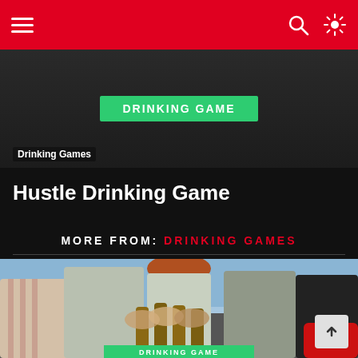Navigation bar with hamburger menu, search icon, and settings icon
[Figure (photo): Dark background photo showing a 'DRINKING GAME' green sign/banner with category label 'Drinking Games' overlaid at bottom left]
Hustle Drinking Game
MORE FROM: DRINKING GAMES
[Figure (photo): Group of diverse friends smiling and clinking beer bottles together outdoors, with a 'DRINKING GAME' green banner at the bottom]